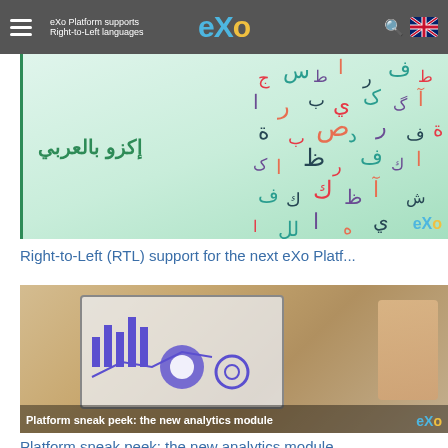eXo Platform supports Right-to-Left languages
[Figure (screenshot): eXo platform RTL support banner with Arabic text 'إكزو بالعربي' on green background with colorful Arabic characters]
Right-to-Left (RTL) support for the next eXo Platf...
[Figure (screenshot): Platform sneak peek showing analytics module with charts on a computer screen with stylus, overlay text: Platform sneak peek: the new analytics module]
Platform sneak peek: the new analytics module